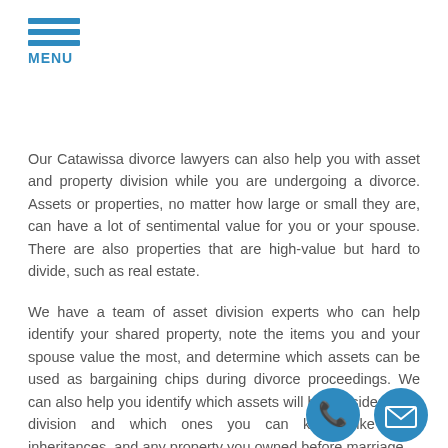[Figure (other): Hamburger menu icon with three blue horizontal lines and MENU label in blue]
Our Catawissa divorce lawyers can also help you with asset and property division while you are undergoing a divorce. Assets or properties, no matter how large or small they are, can have a lot of sentimental value for you or your spouse. There are also properties that are high-value but hard to divide, such as real estate.
We have a team of asset division experts who can help identify your shared property, note the items you and your spouse value the most, and determine which assets can be used as bargaining chips during divorce proceedings. We can also help you identify which assets will be considered for division and which ones you can keep, like gifts, inheritances, and any property you owned before marriage.
[Figure (other): Blue circular phone icon at bottom right]
[Figure (other): Blue circular email/envelope icon at bottom right]